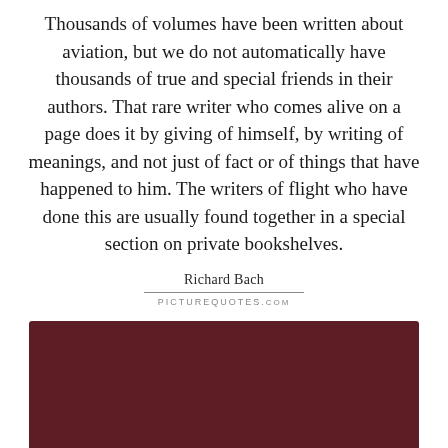Thousands of volumes have been written about aviation, but we do not automatically have thousands of true and special friends in their authors. That rare writer who comes alive on a page does it by giving of himself, by writing of meanings, and not just of fact or of things that have happened to him. The writers of flight who have done this are usually found together in a special section on private bookshelves.
Richard Bach
[Figure (other): Dark maroon/burgundy rectangular banner area, likely an advertisement or decorative element from PictureQuotes.com]
PICTUREQUOTES